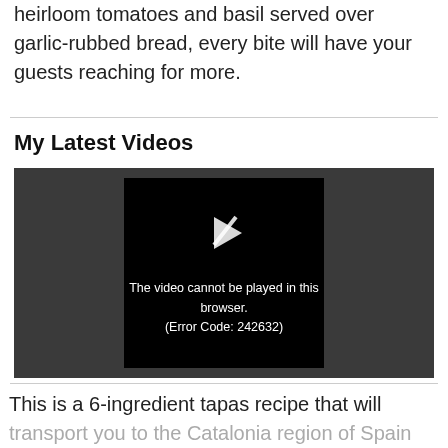heirloom tomatoes and basil served over garlic-rubbed bread, every bite will have your guests reaching for more.
My Latest Videos
[Figure (screenshot): Video player showing error message: The video cannot be played in this browser. (Error Code: 242632)]
This is a 6-ingredient tapas recipe that will transport you to the Catalonia region of Spain with just one bite of fresh, bright, and juicy